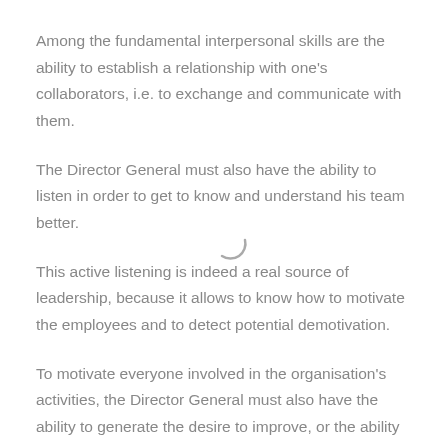Among the fundamental interpersonal skills are the ability to establish a relationship with one’s collaborators, i.e. to exchange and communicate with them.
The Director General must also have the ability to listen in order to get to know and understand his team better.
This active listening is indeed a real source of leadership, because it allows to know how to motivate the employees and to detect potential demotivation.
To motivate everyone involved in the organisation’s activities, the Director General must also have the ability to generate the desire to improve, or the ability to stimulate enthusiasm and creativity.